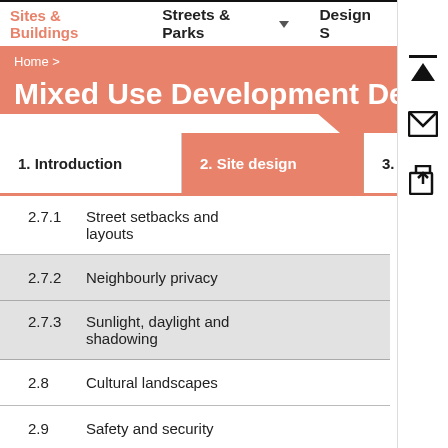Sites & Buildings   Streets & Parks   Design S
Home >
Mixed Use Development Design
1. Introduction   2. Site design   3. Street to front
2.7.1   Street setbacks and layouts
2.7.2   Neighbourly privacy
2.7.3   Sunlight, daylight and shadowing
2.8   Cultural landscapes
2.9   Safety and security